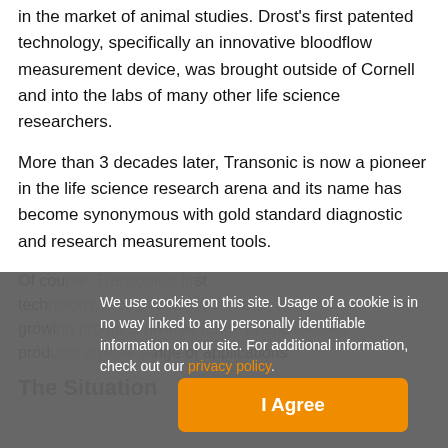in the market of animal studies. Drost's first patented technology, specifically an innovative bloodflow measurement device, was brought outside of Cornell and into the labs of many other life science researchers.
More than 3 decades later, Transonic is now a pioneer in the life science research arena and its name has become synonymous with gold standard diagnostic and research measurement tools.
Of course, Transonic's first technology, recognized the growing diverse range of applications products...
The Situation
We use cookies on this site. Usage of a cookie is in no way linked to any personally identifiable information on our site. For additional information, check out our privacy policy.